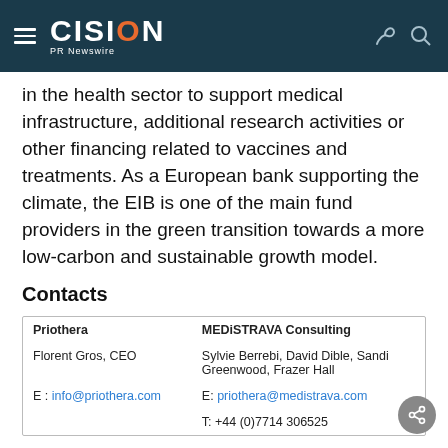CISION PR Newswire
in the health sector to support medical infrastructure, additional research activities or other financing related to vaccines and treatments. As a European bank supporting the climate, the EIB is one of the main fund providers in the green transition towards a more low-carbon and sustainable growth model.
Contacts
| Priothera | MEDiSTRAVA Consulting |
| --- | --- |
| Florent Gros, CEO | Sylvie Berrebi, David Dible, Sandi Greenwood, Frazer Hall |
| E : info@priothera.com | E: priothera@medistrava.com |
|  | T: +44 (0)7714 306525 |